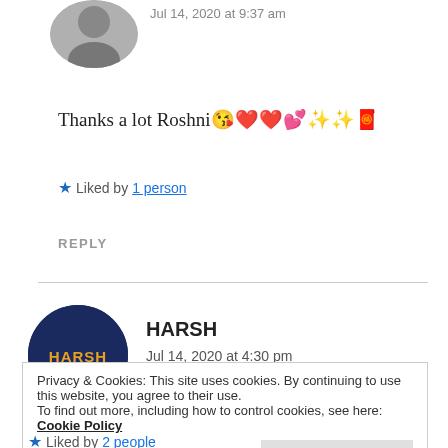Jul 14, 2020 at 9:37 am
Thanks a lot Roshni😘❤️❤️💕✨✨🧧
★ Liked by 1 person
REPLY
HARSH
Jul 14, 2020 at 4:30 pm
Privacy & Cookies: This site uses cookies. By continuing to use this website, you agree to their use.
To find out more, including how to control cookies, see here: Cookie Policy
★ Liked by 2 people